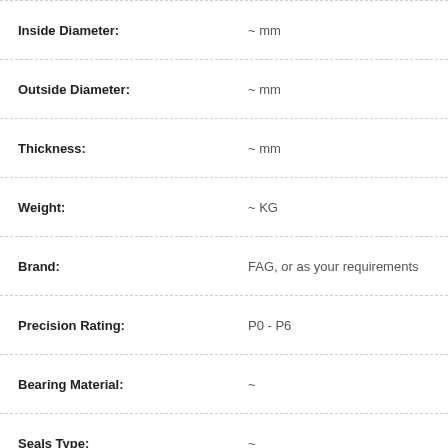| Property | Value |
| --- | --- |
| Inside Diameter: | ~ mm |
| Outside Diameter: | ~ mm |
| Thickness: | ~ mm |
| Weight: | ~ KG |
| Brand: | FAG, or as your requirements |
| Precision Rating: | P0 - P6 |
| Bearing Material: | ~ |
| Seals Type: | ~ |
How can you buy FAG UC215-48 Bearing on the Internet? High quality FAG UC215-48 Bearing, Just click the button " Contact Now " to mention your purchase Requirement , Quantity and Contact Method of your requested Bearing Item No.UC215-48. then click the button " Send " The web site will make your